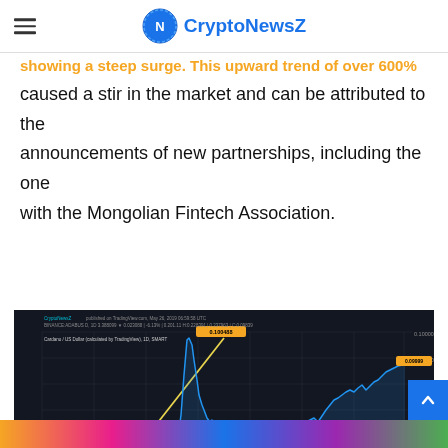CryptoNewsZ
analysis is between May 10 and May 15, where the price of the coin rose to $0.100, showing a steep surge. This upward trend of over 600% caused a stir in the market and can be attributed to the announcements of new partnerships, including the one with the Mongolian Fintech Association.
[Figure (continuous-plot): TradingView chart showing Cardano/US Dollar price movement. Chart shows a sharp spike up to 0.100488 around May 11, then a decline and recovery. Yellow diagonal line drawn from low point (~0.016000) to the peak. Chart published on TradingView.com, created with TradingView branding.]